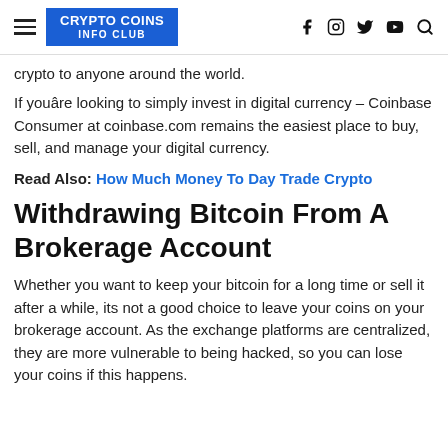CRYPTO COINS INFO CLUB
crypto to anyone around the world.
If youâre looking to simply invest in digital currency – Coinbase Consumer at coinbase.com remains the easiest place to buy, sell, and manage your digital currency.
Read Also: How Much Money To Day Trade Crypto
Withdrawing Bitcoin From A Brokerage Account
Whether you want to keep your bitcoin for a long time or sell it after a while, its not a good choice to leave your coins on your brokerage account. As the exchange platforms are centralized, they are more vulnerable to being hacked, so you can lose your coins if this happens.